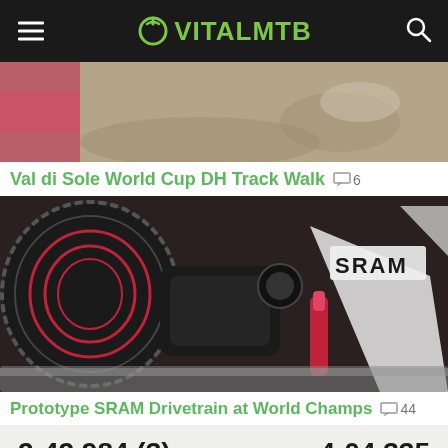VITALMTB
[Figure (photo): Closeup photo of rocky trail ground with red bike component visible on the left edge]
Val di Sole World Cup DH Track Walk  💬6
[Figure (photo): Closeup photo of SRAM prototype drivetrain/rear derailleur with cassette on a red and white mountain bike frame]
Prototype SRAM Drivetrain at World Champs  💬44
2:42.984 (3)    4:04.335